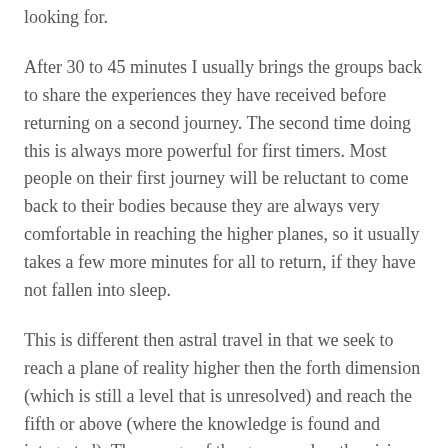looking for.
After 30 to 45 minutes I usually brings the groups back to share the experiences they have received before returning on a second journey. The second time doing this is always more powerful for first timers. Most people on their first journey will be reluctant to come back to their bodies because they are always very comfortable in reaching the higher planes, so it usually takes a few more minutes for all to return, if they have not fallen into sleep.
This is different then astral travel in that we seek to reach a plane of reality higher then the forth dimension (which is still a level that is unresolved) and reach the fifth or above (where the knowledge is found and integrated). The energy of the group makes the visions a lot stronger and directed then someone doing this alone projecting into the astral planes.
Related article: Now That I Have My Crystals, What Do I Do With Them?